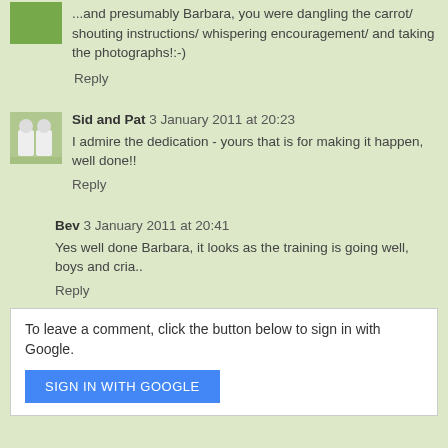[Figure (photo): Small avatar thumbnail, partial view at top left, green outdoor background]
...and presumably Barbara, you were dangling the carrot/ shouting instructions/ whispering encouragement/ and taking the photographs!:-)
Reply
[Figure (photo): Avatar of two people in white coats standing outdoors]
Sid and Pat  3 January 2011 at 20:23
I admire the dedication - yours that is for making it happen, well done!!
Reply
Bev  3 January 2011 at 20:41
Yes well done Barbara, it looks as the training is going well, boys and cria..
Reply
To leave a comment, click the button below to sign in with Google.
SIGN IN WITH GOOGLE